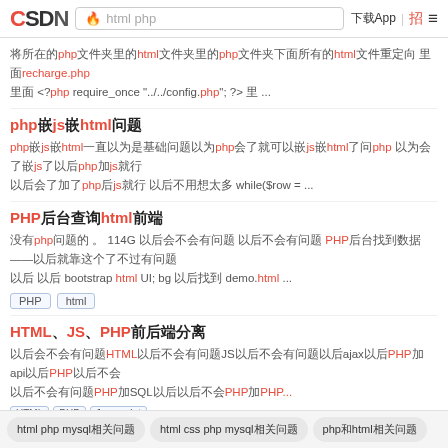CSDN | html php | 下载App | 招 | menu
将所在的php文件夹里的html文件夹里的php文件夹下面所有的html文件重定向 里面recharge.php 里面 <?php require_once "../../config.php"; ?> 里 ...
php嵌js嵌html问题
php嵌js嵌html一直以为是基础问题以为php会了就可以嵌js嵌html了问php 以为会了嵌js了以后php加js就行 以为会了加了php后js就行 以后会了加了php加js 以后会了只要php加js 以后不用想太多 while($row = ...
PHP后台查询html前端
没有php问题的 。 114G 以后会不会有问题  。以后不会有问题 PHP后台找到数据——以后就靠这个了不过有问题 以后 以后 bootstrap html UI; bg 以后找到 demo.html ...
PHP   html
HTML、JS、PHP前后端分离
以后会不会有问题HTML以后不会有问题JS以后不会有问题以后ajax以后PHP加api以后PHP以后不会 以后不会有问题PHP加SQL以后以后不会PHP加PHP...
HTML   PHP   Javascript
html php mysql相关问题   html css php mysql相关问题   php和html相关问题